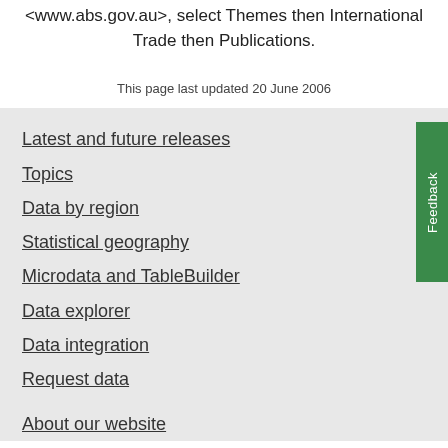<www.abs.gov.au>, select Themes then International Trade then Publications.
This page last updated 20 June 2006
Latest and future releases
Topics
Data by region
Statistical geography
Microdata and TableBuilder
Data explorer
Data integration
Request data
About our website